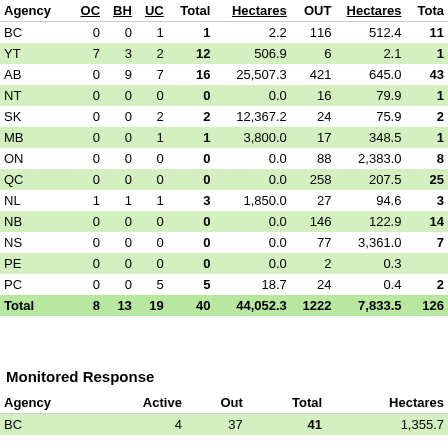| Agency | OC | BH | UC | Total | Hectares | OUT | Hectares | Total |
| --- | --- | --- | --- | --- | --- | --- | --- | --- |
| BC | 0 | 0 | 1 | 1 | 2.2 | 116 | 512.4 | 11 |
| YT | 7 | 3 | 2 | 12 | 506.9 | 6 | 2.1 | 1 |
| AB | 0 | 9 | 7 | 16 | 25,507.3 | 421 | 645.0 | 43 |
| NT | 0 | 0 | 0 | 0 | 0.0 | 16 | 79.9 | 1 |
| SK | 0 | 0 | 2 | 2 | 12,367.2 | 24 | 75.9 | 2 |
| MB | 0 | 0 | 1 | 1 | 3,800.0 | 17 | 348.5 | 1 |
| ON | 0 | 0 | 0 | 0 | 0.0 | 88 | 2,383.0 | 8 |
| QC | 0 | 0 | 0 | 0 | 0.0 | 258 | 207.5 | 25 |
| NL | 1 | 1 | 1 | 3 | 1,850.0 | 27 | 94.6 | 3 |
| NB | 0 | 0 | 0 | 0 | 0.0 | 146 | 122.9 | 14 |
| NS | 0 | 0 | 0 | 0 | 0.0 | 77 | 3,361.0 | 7 |
| PE | 0 | 0 | 0 | 0 | 0.0 | 2 | 0.3 |  |
| PC | 0 | 0 | 5 | 5 | 18.7 | 24 | 0.4 | 2 |
| Total | 8 | 13 | 19 | 40 | 44,052.3 | 1222 | 7,833.5 | 126 |
Monitored Response
| Agency | Active | Out | Total | Hectares |
| --- | --- | --- | --- | --- |
| BC | 4 | 37 | 41 | 1,355.7 |